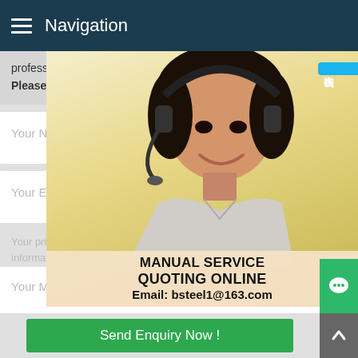Navigation
professional team will reply to you withi
Please feel FREE to contact us!
Your Name:
Your E-mail:
Your privacy is important to us - we nev information.
[Figure (photo): Customer service representative woman wearing headset, smiling, with overlay panel showing MANUAL SERVICE, QUOTING ONLINE, Email: bsteel1@163.com and a blue Chinese text badge reading 在线咨询 (Online Consultation)]
Your Message:
Send Enquiry Now !